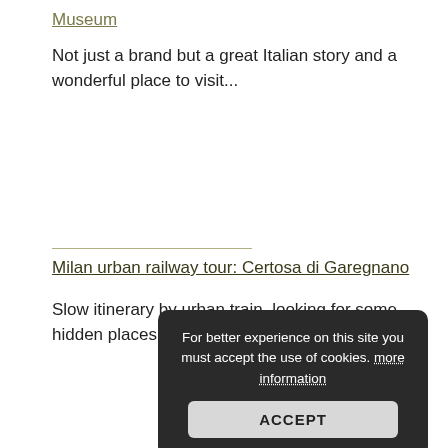Museum
Not just a brand but a great Italian story and a wonderful place to visit...
Milan urban railway tour: Certosa di Garegnano
Slow itinerary by urban train, looking for some hidden places in town...
For better experience on this site you must accept the use of cookies. more information
ACCEPT